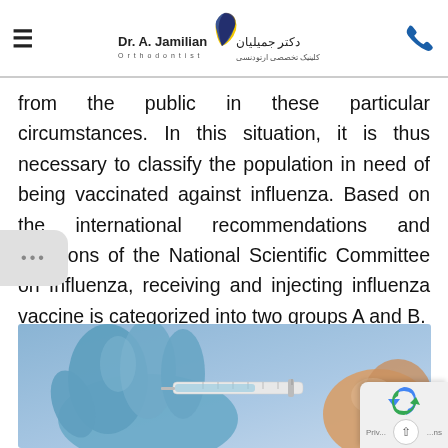Dr. A. Jamilian Orthodontist | دکتر جمیلیان کلینیک تخصصی ارتودنسی
from the public in these particular circumstances. In this situation, it is thus necessary to classify the population in need of being vaccinated against influenza. Based on the international recommendations and decisions of the National Scientific Committee on Influenza, receiving and injecting influenza vaccine is categorized into two groups A and B.
[Figure (photo): A gloved hand holding a syringe injecting a vaccine into a person's arm, set against a blue background.]